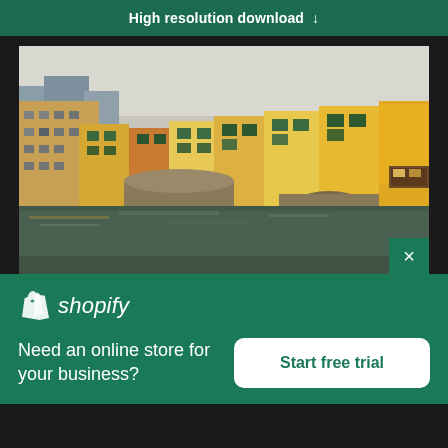High resolution download ↓
[Figure (photo): Photo of Ponte Vecchio bridge in Florence, Italy, over the Arno River. Historic buildings with yellow, orange, and brown facades line the bridge. Stone arches are visible at water level with reflections.]
[Figure (logo): Shopify logo — white shopping bag icon with 'shopify' text in white italic font]
Need an online store for your business?
Start free trial